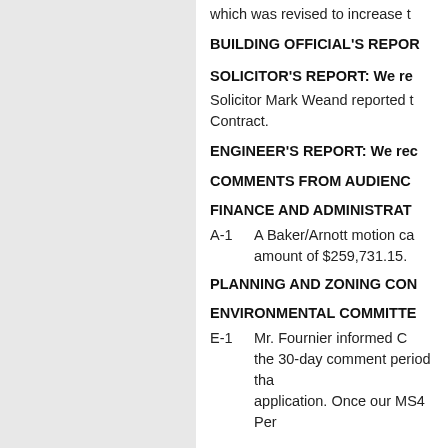which was revised to increase t
BUILDING OFFICIAL'S REPOR
SOLICITOR'S REPORT: We re
Solicitor Mark Weand reported t Contract.
ENGINEER'S REPORT: We rec
COMMENTS FROM AUDIENC
FINANCE AND ADMINISTRAT
A-1   A Baker/Arnott motion ca amount of $259,731.15.
PLANNING AND ZONING CON
ENVIRONMENTAL COMMITTE
E-1   Mr. Fournier informed C the 30-day comment period tha application. Once our MS4 Per